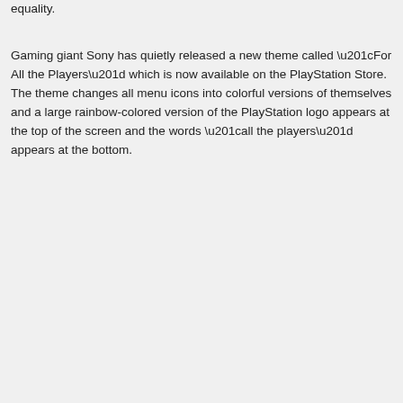equality.
Gaming giant Sony has quietly released a new theme called “For All the Players” which is now available on the PlayStation Store. The theme changes all menu icons into colorful versions of themselves and a large rainbow-colored version of the PlayStation logo appears at the top of the screen and the words “all the players” appears at the bottom.